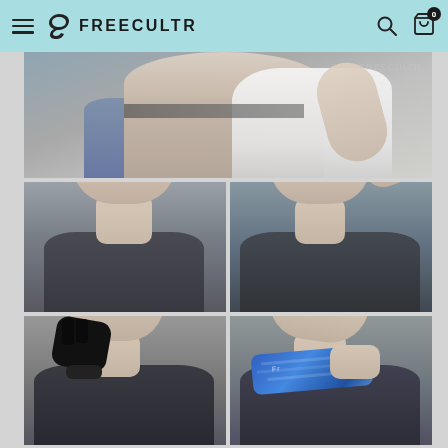FREECULTR – navigation bar with hamburger menu, logo, search and cart icons
[Figure (photo): E-commerce product page screenshot for FREECULTR brand showing athletic accessories on male models. Top image shows partial torso with blue shorts and white tank top. Below are four grid photos: top-left man wearing grey patterned headband, top-right man with hand in hair showing wrist wrap, bottom-left man wearing fingerless black gloves touching neck, bottom-right man holding blue cooling bandana/towel at neck.]